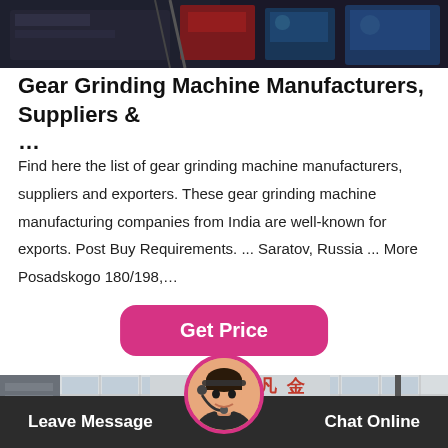[Figure (photo): Photo of industrial grinding machines, dark background with blue and red mechanical equipment]
Gear Grinding Machine Manufacturers, Suppliers & ...
Find here the list of gear grinding machine manufacturers, suppliers and exporters. These gear grinding machine manufacturing companies from India are well-known for exports. Post Buy Requirements. ... Saratov, Russia ... More Posadskogo 180/198,…
[Figure (other): Get Price button - pink/magenta rounded rectangle button]
[Figure (photo): Photo of a building/factory with Chinese characters on signage, white tiled facade with grid windows]
Leave Message  Chat Online